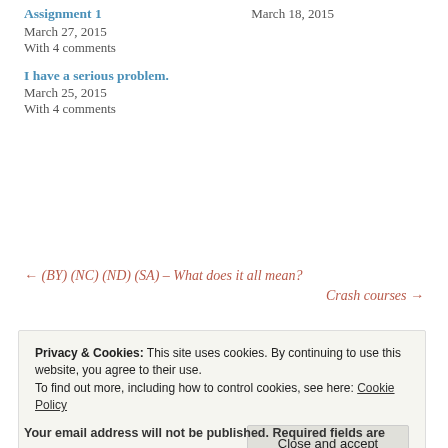Assignment 1
March 27, 2015
With 4 comments
March 18, 2015
I have a serious problem.
March 25, 2015
With 4 comments
← (BY) (NC) (ND) (SA) – What does it all mean?
Crash courses →
Privacy & Cookies: This site uses cookies. By continuing to use this website, you agree to their use.
To find out more, including how to control cookies, see here: Cookie Policy
Close and accept
Your email address will not be published. Required fields are